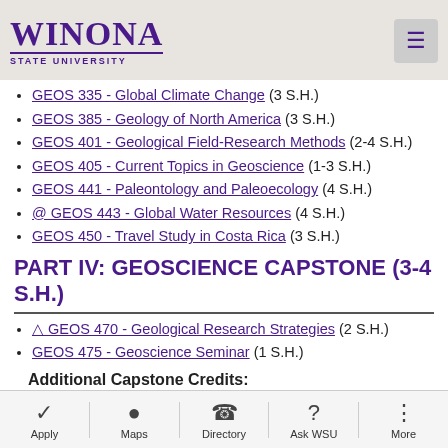Winona State University
GEOS 335 - Global Climate Change (3 S.H.)
GEOS 385 - Geology of North America (3 S.H.)
GEOS 401 - Geological Field-Research Methods (2-4 S.H.)
GEOS 405 - Current Topics in Geoscience (1-3 S.H.)
GEOS 441 - Paleontology and Paleoecology (4 S.H.)
@ GEOS 443 - Global Water Resources (4 S.H.)
GEOS 450 - Travel Study in Costa Rica (3 S.H.)
PART IV: GEOSCIENCE CAPSTONE (3-4 S.H.)
△ GEOS 470 - Geological Research Strategies (2 S.H.)
GEOS 475 - Geoscience Seminar (1 S.H.)
Additional Capstone Credits:
Apply  Maps  Directory  Ask WSU  More